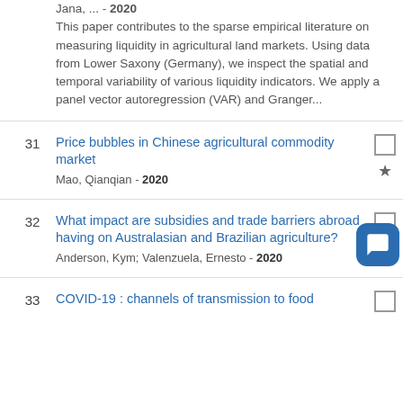This paper contributes to the sparse empirical literature on measuring liquidity in agricultural land markets. Using data from Lower Saxony (Germany), we inspect the spatial and temporal variability of various liquidity indicators. We apply a panel vector autoregression (VAR) and Granger...
31 Price bubbles in Chinese agricultural commodity market — Mao, Qianqian - 2020
32 What impact are subsidies and trade barriers abroad having on Australasian and Brazilian agriculture? — Anderson, Kym; Valenzuela, Ernesto - 2020
33 COVID-19 : channels of transmission to food